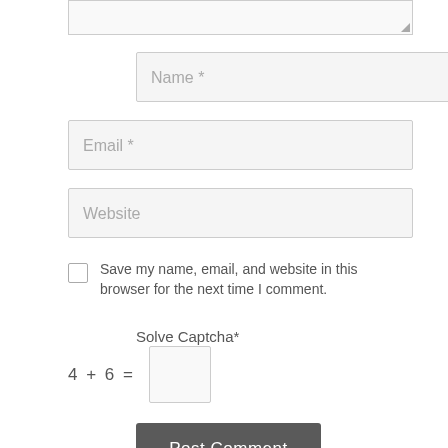[Figure (screenshot): Partial textarea input (top portion cut off) with resize handle in bottom-right corner]
Name *
Email *
Website
Save my name, email, and website in this browser for the next time I comment.
Solve Captcha*
4 + 6 =
Post Comment